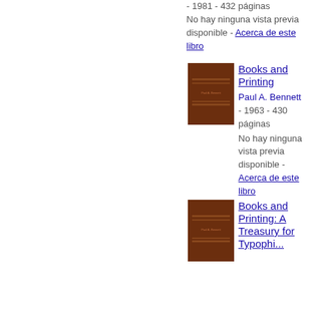- 1981 - 432 páginas
No hay ninguna vista previa disponible - Acerca de este libro
[Figure (photo): Brown book cover for Books and Printing by Paul A. Bennett]
Books and Printing
Paul A. Bennett - 1963 - 430 páginas
No hay ninguna vista previa disponible - Acerca de este libro
[Figure (photo): Brown book cover for Books and Printing: A Treasury for Typophiles]
Books and Printing: A Treasury for Typophiles